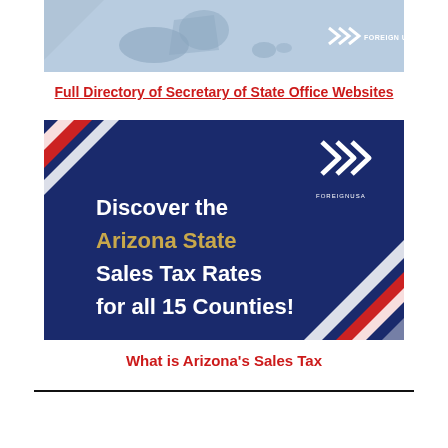[Figure (illustration): Top banner image with blue/gray background showing map silhouettes and Foreign USA logo with chevron arrows]
Full Directory of Secretary of State Office Websites
[Figure (illustration): Dark navy blue banner with diagonal red and white stripes in corners, white chevron arrow logo, text: 'Discover the Arizona State Sales Tax Rates for all 15 Counties!' with FOREIGNUSA branding]
What is Arizona's Sales Tax